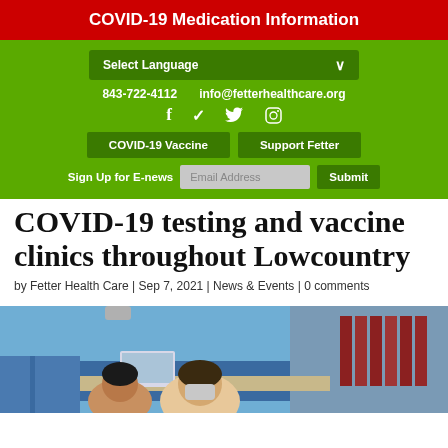COVID-19 Medication Information
Select Language
843-722-4112    info@fetterhealthcare.org
[Figure (screenshot): Social media icons: Facebook (f), Twitter (bird), Instagram]
COVID-19 Vaccine    Support Fetter
Sign Up for E-news  Email Address  Submit
COVID-19 testing and vaccine clinics throughout Lowcountry
by Fetter Health Care | Sep 7, 2021 | News & Events | 0 comments
[Figure (photo): People working at a vaccine or testing clinic, wearing masks, seated at tables with laptops. Blue chairs and red folders visible in background.]